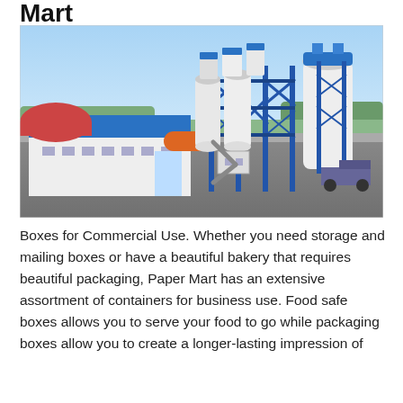Mart
[Figure (photo): Aerial view of an industrial concrete batching plant facility with blue steel silos, white cylindrical storage tanks, blue metal framework structures, a blue-roofed warehouse building, and a clear sky background with green landscape.]
Boxes for Commercial Use. Whether you need storage and mailing boxes or have a beautiful bakery that requires beautiful packaging, Paper Mart has an extensive assortment of containers for business use. Food safe boxes allows you to serve your food to go while packaging boxes allow you to create a longer-lasting impression of